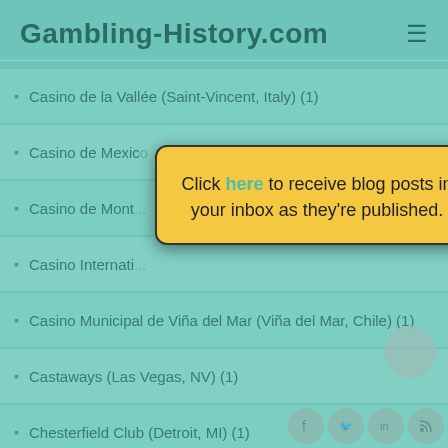Gambling-History.com
Casino de la Vallée (Saint-Vincent, Italy) (1)
Casino de Mexico ... (1)
Casino de Mont...
Casino Internati...
Casino Municipal de Viña del Mar (Viña del Mar, Chile) (1)
Castaways (Las Vegas, NV) (1)
Chesterfield Club (Detroit, MI) (1)
[Figure (screenshot): Popup modal with yellow background saying: Click here to receive blog posts in your inbox as they're published. Has an X close button in top-right corner.]